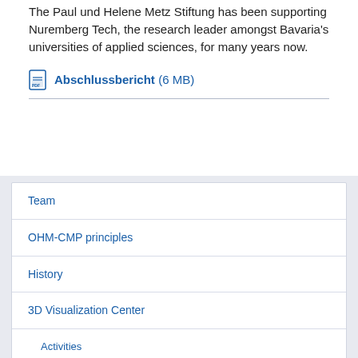The Paul und Helene Metz Stiftung has been supporting Nuremberg Tech, the research leader amongst Bavaria's universities of applied sciences, for many years now.
Abschlussbericht (6 MB)
Team
OHM-CMP principles
History
3D Visualization Center
Activities
Research
MoCap4Robots